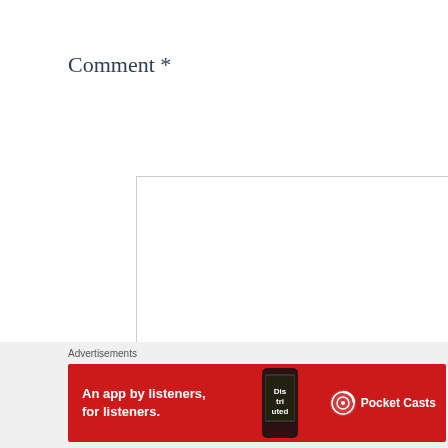Comment *
[Figure (screenshot): Empty comment text area input box with resize handle in bottom-right corner]
Advertisements
[Figure (illustration): Pocket Casts advertisement banner: red background with phone image, text 'An app by listeners, for listeners.' and Pocket Casts logo on right]